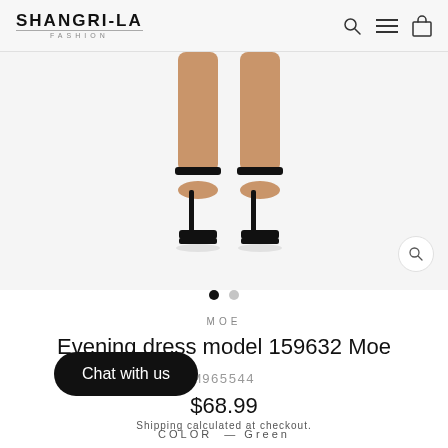SHANGRI-LA FASHION
[Figure (photo): Close-up of legs wearing black stiletto ankle-strap heels on a white background, product shot for Evening dress model 159632 Moe]
MOE
Evening dress model 159632 Moe
M965544
$68.99
Shipping calculated at checkout.
Chat with us
COLOR — Green